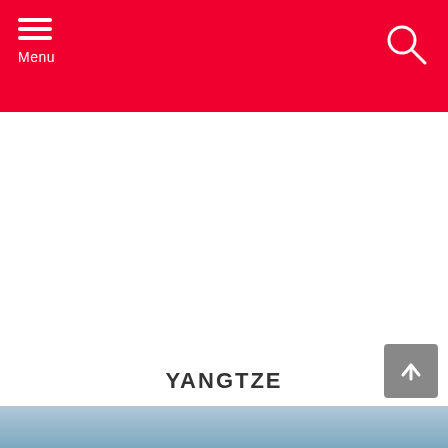Menu
YANGTZE
[Figure (photo): Partial view of a river or water scene at the bottom of the page]